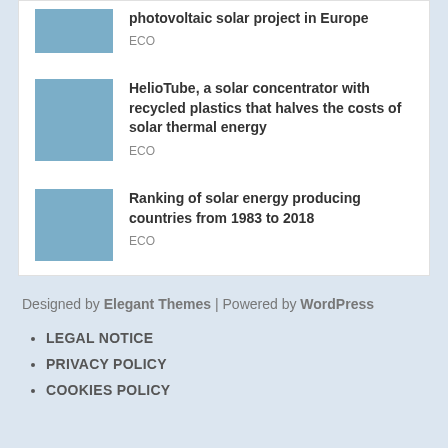[Figure (illustration): Thumbnail image placeholder (light blue square) for photovoltaic solar project article]
photovoltaic solar project in Europe
ECO
[Figure (illustration): Thumbnail image placeholder (light blue square) for HelioTube article]
HelioTube, a solar concentrator with recycled plastics that halves the costs of solar thermal energy
ECO
[Figure (illustration): Thumbnail image placeholder (light blue square) for ranking of solar energy article]
Ranking of solar energy producing countries from 1983 to 2018
ECO
Designed by Elegant Themes | Powered by WordPress
LEGAL NOTICE
PRIVACY POLICY
COOKIES POLICY